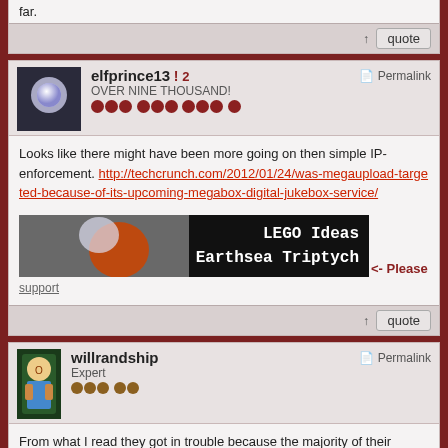far.
↑  quote
elfprince13  2
OVER NINE THOUSAND!
Permalink
Looks like there might have been more going on then simple IP-enforcement. http://techcrunch.com/2012/01/24/was-megaupload-targeted-because-of-its-upcoming-megabox-digital-jukebox-service/
[Figure (photo): LEGO Ideas Earthsea Triptych banner ad]
<- Please support
↑  quote
willrandship
Expert
Permalink
From what I read they got in trouble because the majority of their employees regularly used the copyrighted material, so it was obvious they knew it was there.
Hmm...what to put here....
[Figure (screenshot): NerdTests.com - The Nerd Test ver 2.0 (click here to take) banner]
↑  quote
DShiznit
Permalink